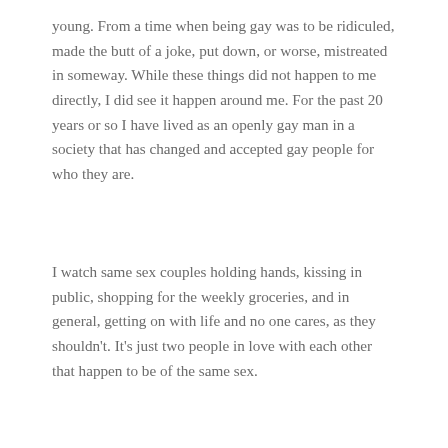young. From a time when being gay was to be ridiculed, made the butt of a joke, put down, or worse, mistreated in someway. While these things did not happen to me directly, I did see it happen around me. For the past 20 years or so I have lived as an openly gay man in a society that has changed and accepted gay people for who they are.
I watch same sex couples holding hands, kissing in public, shopping for the weekly groceries, and in general, getting on with life and no one cares, as they shouldn't. It's just two people in love with each other that happen to be of the same sex.